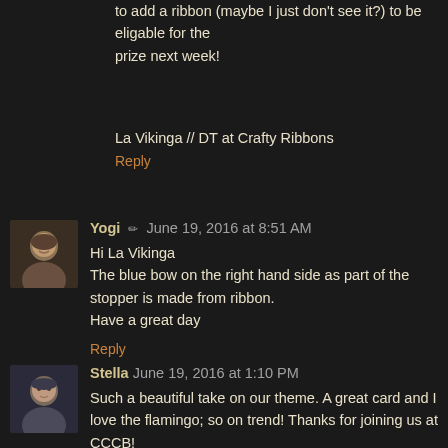to add a ribbon (maybe I just don't see it?) to be eligable for the
price next week!
La Vikinga // DT at Crafty Ribbons
Reply
Yogi ✏ June 19, 2016 at 8:51 AM
Hi La Vikinga
The blue bow on the right hand side as part of the stopper is made from ribbon.
Have a great day
Reply
Stella June 19, 2016 at 1:10 PM
Such a beautiful take on our theme. A great card and I love the flamingo; so on trend! Thanks for joining us at CCCB!